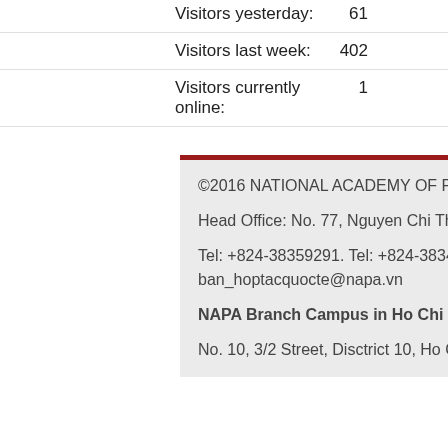Visitors yesterday: 61
Visitors last week: 402
Visitors currently online: 1
©2016 NATIONAL ACADEMY OF PUBLIC ADMINISTRATION / www1.napa.vn
Head Office: No. 77, Nguyen Chi Thanh Street, Dong Da District, Hanoi City, Vietnam
Tel: +824-38359291. Tel: +824-38343223. Fax: +824-38358943. Email: ban_hoptacquocte@napa.vn
NAPA Branch Campus in Ho Chi Minh City
No. 10, 3/2 Street, Disctrict 10, Ho Chi Minh City